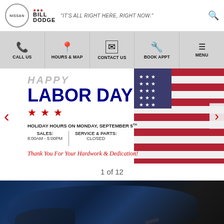NISSAN | Bill Dodge | "IT'S ALL RIGHT HERE, RIGHT NOW."
CALL US
HOURS & MAP
CONTACT US
BOOK APPT
MENU
[Figure (screenshot): Labor Day banner showing 'HAPPY LABOR DAY' with stars, holiday hours for Monday September 5th: Sales 8:00AM-5:00PM, Service & Parts: CLOSED, and text 'Thank You For Your Hardwork & Dedication!' with American flag image on right side]
1 of 12
[Figure (photo): Partial view of a dark blue sports car (Nissan) with orange detail, seen from above at an angle, against a black background]